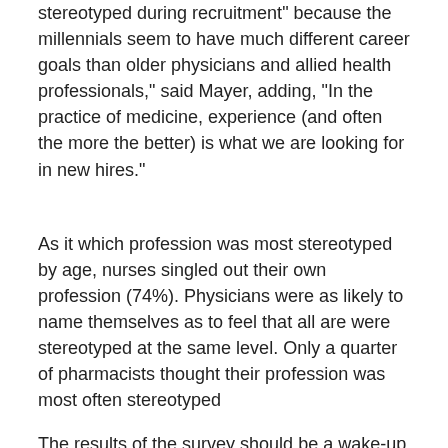stereotyped during recruitment" because the millennials seem to have much different career goals than older physicians and allied health professionals," said Mayer, adding, "In the practice of medicine, experience (and often the more the better) is what we are looking for in new hires."
As it which profession was most stereotyped by age, nurses singled out their own profession (74%). Physicians were as likely to name themselves as to feel that all are were stereotyped at the same level. Only a quarter of pharmacists thought their profession was most often stereotyped
The results of the survey should be a wake-up call to medicine, especially because the profession needs new physicians, said one commenter. At age 58, Glenwood Clark applied to 51 medical schools, only one of which offered acceptance. "I was not even offered an interview